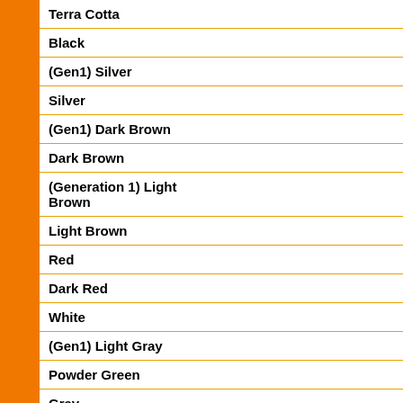Terra Cotta
Black
(Gen1) Silver
Silver
(Gen1) Dark Brown
Dark Brown
(Generation 1) Light Brown
Light Brown
Red
Dark Red
White
(Gen1) Light Gray
Powder Green
Gray
Light Gray